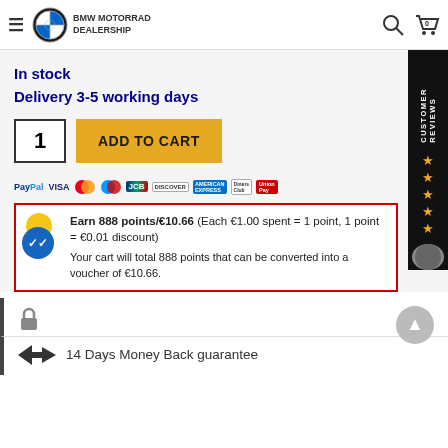BMW MOTORRAD DEALERSHIP
In stock
Delivery 3-5 working days
1  ADD TO CART
[Figure (logo): Payment icons: PayPal, VISA, Mastercard, Maestro, JCB, Discover, American Express, Diners Club, UnionPay]
Earn 888 points/€10.66 (Each €1.00 spent = 1 point, 1 point = €0.01 discount)
Your cart will total 888 points that can be converted into a voucher of €10.66.
14 Days Money Back guarantee